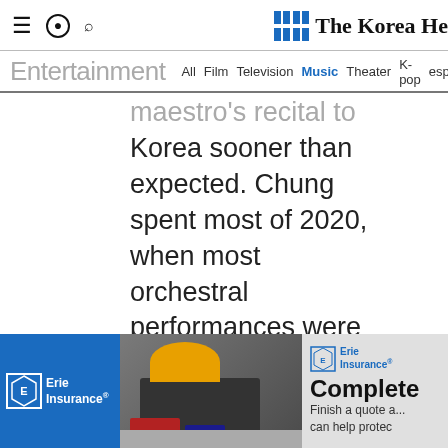The Korea Herald
Entertainment  All  Film  Television  Music  Theater  K-pop  esports
maestro's recital to Korea sooner than expected. Chung spent most of 2020, when most orchestral performances were canceled, playing the...
[Figure (photo): Erie Insurance advertisement banner showing a car loaded with luggage in the trunk, with Erie Insurance logo and text 'Complete - Finish a quote a... can help protec...']